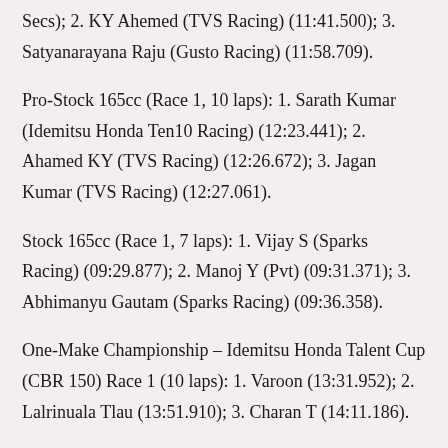Secs); 2. KY Ahemed (TVS Racing) (11:41.500); 3. Satyanarayana Raju (Gusto Racing) (11:58.709).
Pro-Stock 165cc (Race 1, 10 laps): 1. Sarath Kumar (Idemitsu Honda Ten10 Racing) (12:23.441); 2. Ahamed KY (TVS Racing) (12:26.672); 3. Jagan Kumar (TVS Racing) (12:27.061).
Stock 165cc (Race 1, 7 laps): 1. Vijay S (Sparks Racing) (09:29.877); 2. Manoj Y (Pvt) (09:31.371); 3. Abhimanyu Gautam (Sparks Racing) (09:36.358).
One-Make Championship – Idemitsu Honda Talent Cup (CBR 150) Race 1 (10 laps): 1. Varoon (13:31.952); 2. Lalrinuala Tlau (13:51.910); 3. Charan T (14:11.186).